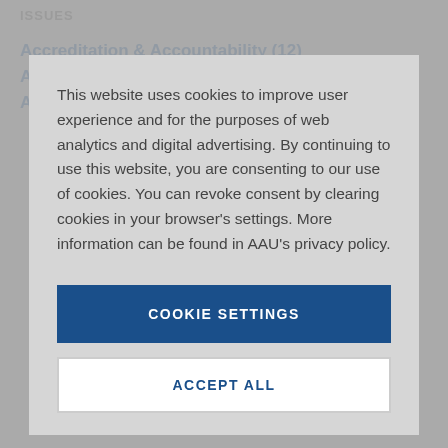ISSUES
Accreditation & Accountability (12)
Affordability and Student Aid (40)
Agency Budgets (177)
This website uses cookies to improve user experience and for the purposes of web analytics and digital advertising. By continuing to use this website, you are consenting to our use of cookies. You can revoke consent by clearing cookies in your browser's settings. More information can be found in AAU's privacy policy.
COOKIE SETTINGS
ACCEPT ALL